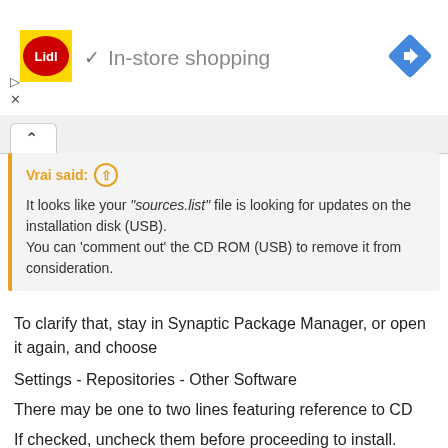[Figure (logo): Lidl logo — yellow square with red 'Lidl' text in an oval]
✓  In-store shopping
[Figure (other): Blue diamond navigation/directions icon with white arrow]
▷
✕
∧
Vrai said: ⊕

It looks like your "sources.list" file is looking for updates on the installation disk (USB).
You can 'comment out' the CD ROM (USB) to remove it from consideration.
To clarify that, stay in Synaptic Package Manager, or open it again, and choose
Settings - Repositories - Other Software
There may be one to two lines featuring reference to CD
If checked, uncheck them before proceeding to install.